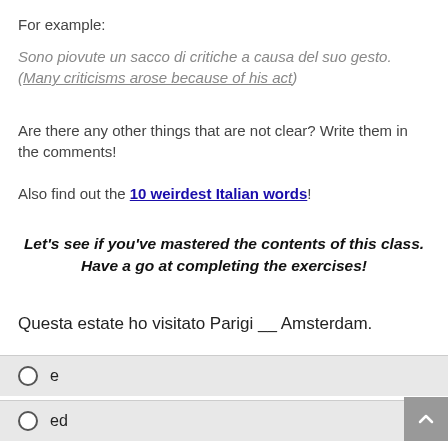For example:
Sono piovute un sacco di critiche a causa del suo gesto. (Many criticisms arose because of his act)
Are there any other things that are not clear? Write them in the comments!
Also find out the 10 weirdest Italian words!
Let's see if you've mastered the contents of this class. Have a go at completing the exercises!
Questa estate ho visitato Parigi __ Amsterdam.
e
ed